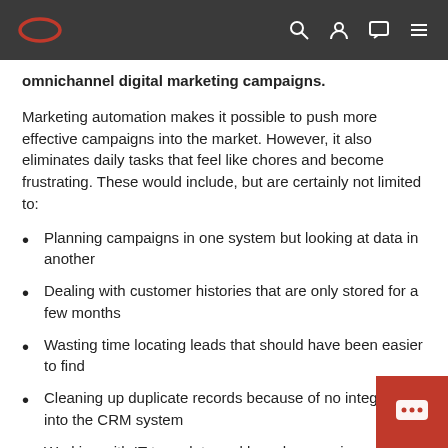Oracle logo and navigation bar with search, profile, chat, and menu icons
omnichannel digital marketing campaigns.
Marketing automation makes it possible to push more effective campaigns into the market. However, it also eliminates daily tasks that feel like chores and become frustrating. These would include, but are certainly not limited to:
Planning campaigns in one system but looking at data in another
Dealing with customer histories that are only stored for a few months
Wasting time locating leads that should have been easier to find
Cleaning up duplicate records because of no integration into the CRM system
Working with IT to update and launch campaigns